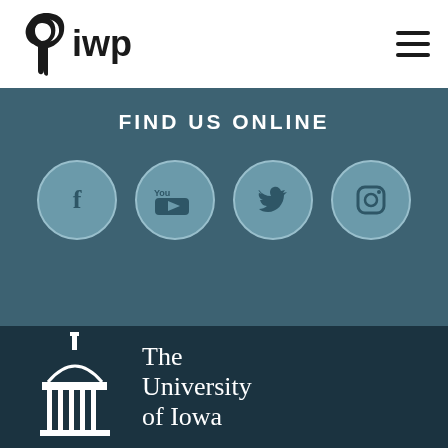iwp
FIND US ONLINE
[Figure (infographic): Four social media icons in grey circles: Facebook, YouTube, Twitter, Instagram]
[Figure (logo): The University of Iowa logo with capitol building icon and text 'The University of Iowa']